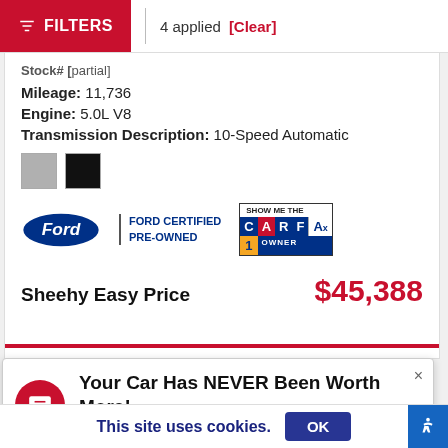FILTERS | 4 applied [Clear]
Stock# [partial]
Mileage: 11,736
Engine: 5.0L V8
Transmission Description: 10-Speed Automatic
[Figure (illustration): Gray and black color swatches]
[Figure (logo): Ford Certified Pre-Owned logo and CARFAX 1 Owner badge]
Sheehy Easy Price $45,388
Your Car Has NEVER Been Worth More! Sell or Trade Your Car Today.
This site uses cookies.